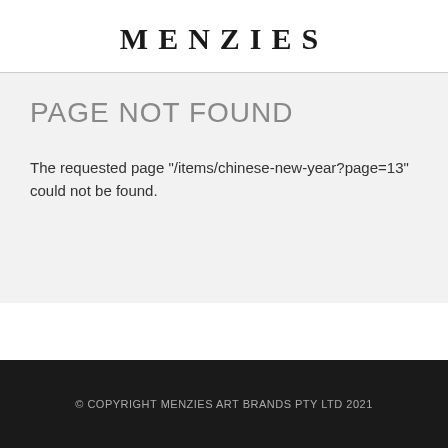MENZIES
PAGE NOT FOUND
The requested page "/items/chinese-new-year?page=13" could not be found.
© COPYRIGHT MENZIES ART BRANDS PTY LTD 2021